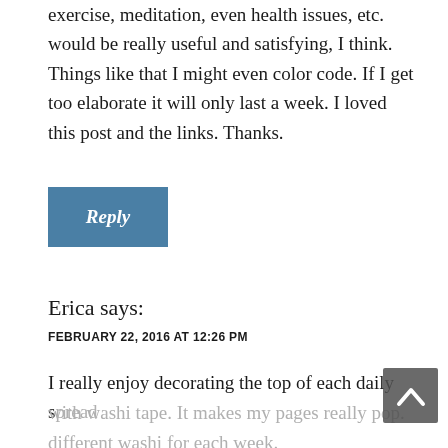exercise, meditation, even health issues, etc. would be really useful and satisfying, I think. Things like that I might even color code. If I get too elaborate it will only last a week. I loved this post and the links. Thanks.
[Figure (other): Reply button - a teal/blue rectangular button with italic white text 'Reply']
Erica says:
FEBRUARY 22, 2016 AT 12:26 PM
I really enjoy decorating the top of each daily spread with washi tape. It makes my pages really pop. different washi for each week.
And I totally felt the same way about collections.